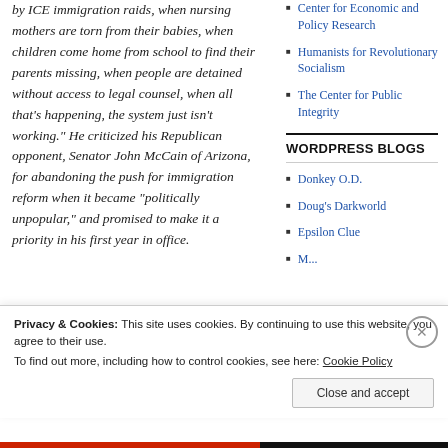by ICE immigration raids, when nursing mothers are torn from their babies, when children come home from school to find their parents missing, when people are detained without access to legal counsel, when all that's happening, the system just isn't working." He criticized his Republican opponent, Senator John McCain of Arizona, for abandoning the push for immigration reform when it became "politically unpopular," and promised to make it a priority in his first year in office.
Center for Economic and Policy Research
Humanists for Revolutionary Socialism
The Center for Public Integrity
WORDPRESS BLOGS
Donkey O.D.
Doug's Darkworld
Epsilon Clue
Privacy & Cookies: This site uses cookies. By continuing to use this website, you agree to their use.
To find out more, including how to control cookies, see here: Cookie Policy
Close and accept